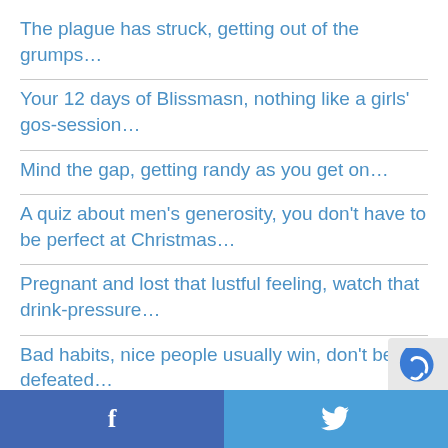The plague has struck, getting out of the grumps…
Your 12 days of Blissmasn, nothing like a girls' gos-session…
Mind the gap, getting randy as you get on…
A quiz about men's generosity, you don't have to be perfect at Christmas…
Pregnant and lost that lustful feeling, watch that drink-pressure…
Bad habits, nice people usually win, don't be defeated…
f  [twitter bird icon]